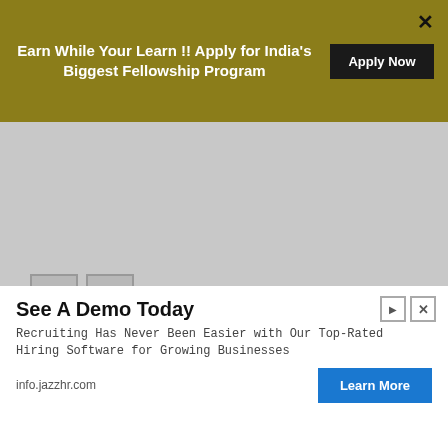Earn While Your Learn !! Apply for India's Biggest Fellowship Program
Apply Now
Apply Now
Latest Internships Jobs
Vertoz Hiring Freshers For Intern Software Engineer Role- Apply Now
August 29, 2022
Apply Now
See A Demo Today
Recruiting Has Never Been Easier with Our Top-Rated Hiring Software for Growing Businesses
info.jazzhr.com
Learn More